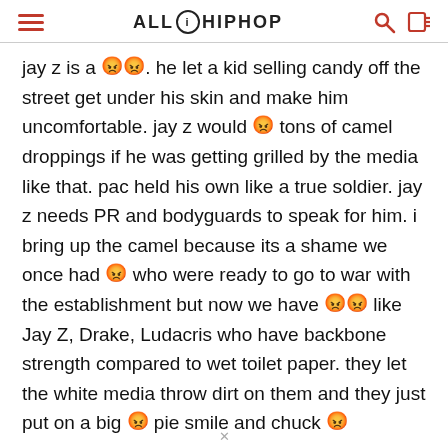ALLHIPHOP
jay z is a [emoji]. he let a kid selling candy off the street get under his skin and make him uncomfortable. jay z would [emoji] tons of camel droppings if he was getting grilled by the media like that. pac held his own like a true soldier. jay z needs PR and bodyguards to speak for him. i bring up the camel because its a shame we once had [emoji] who were ready to go to war with the establishment but now we have [emoji][emoji] like Jay Z, Drake, Ludacris who have backbone strength compared to wet toilet paper. they let the white media throw dirt on them and they just put on a big [emoji] pie smile and chuck [emoji]